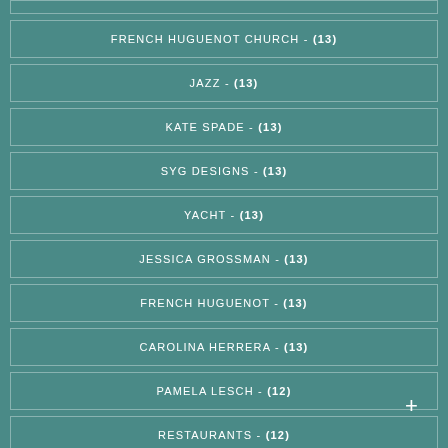FRENCH HUGUENOT CHURCH - (13)
JAZZ - (13)
KATE SPADE - (13)
SYG DESIGNS - (13)
YACHT - (13)
JESSICA GROSSMAN - (13)
FRENCH HUGUENOT - (13)
CAROLINA HERRERA - (13)
PAMELA LESCH - (12)
RESTAURANTS - (12)